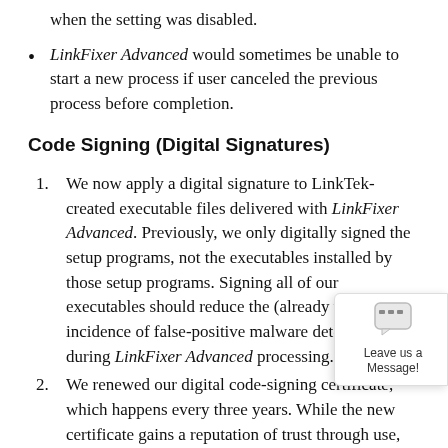when the setting was disabled.
LinkFixer Advanced would sometimes be unable to start a new process if user canceled the previous process before completion.
Code Signing (Digital Signatures)
We now apply a digital signature to LinkTek-created executable files delivered with LinkFixer Advanced. Previously, we only digitally signed the setup programs, not the executables installed by those setup programs. Signing all of our executables should reduce the (already very rare) incidence of false-positive malware detection alerts during LinkFixer Advanced processing.
We renewed our digital code-signing certificate, which happens every three years. While the new certificate gains a reputation of trust through use, you may get a Windows